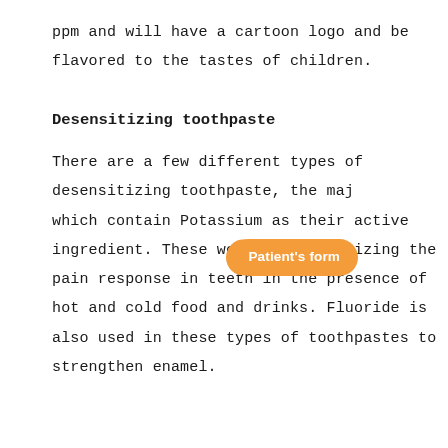ppm and will have a cartoon logo and be flavored to the tastes of children.
Desensitizing toothpaste
There are a few different types of desensitizing toothpaste, the majority of which contain Potassium as their active ingredient. These work by neutralizing the pain response in teeth in the presence of hot and cold food and drinks. Fluoride is also used in these types of toothpastes to strengthen enamel.